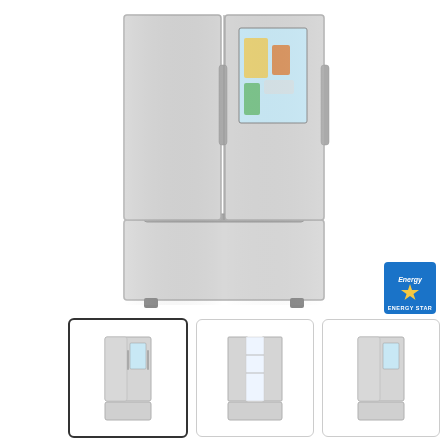[Figure (photo): LG French Door Refrigerator with InstaView window panel, stainless steel finish, main product image]
[Figure (logo): Energy Star certification badge]
[Figure (photo): Four thumbnail images of the LG refrigerator from different angles, first thumbnail selected with dark border]
4.5 | 238 Reviews (star rating row with 4.5 out of 5 stars)